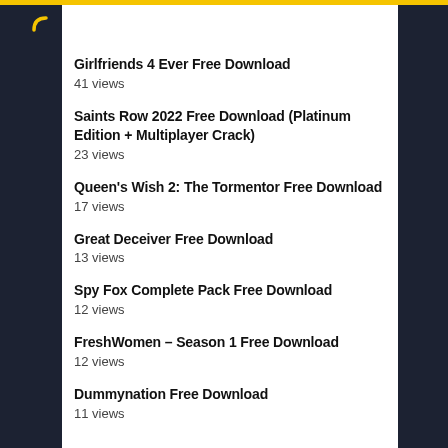Girlfriends 4 Ever Free Download
41 views
Saints Row 2022 Free Download (Platinum Edition + Multiplayer Crack)
23 views
Queen's Wish 2: The Tormentor Free Download
17 views
Great Deceiver Free Download
13 views
Spy Fox Complete Pack Free Download
12 views
FreshWomen – Season 1 Free Download
12 views
Dummynation Free Download
11 views